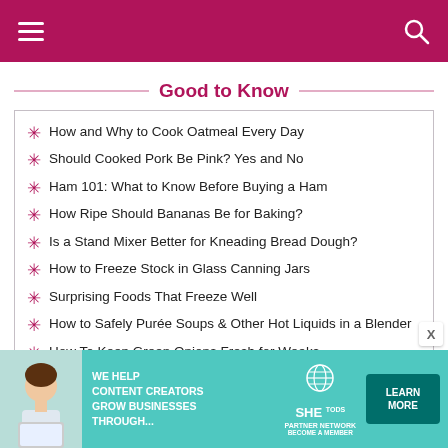Navigation header with menu and search icons
Good to Know
How and Why to Cook Oatmeal Every Day
Should Cooked Pork Be Pink? Yes and No
Ham 101: What to Know Before Buying a Ham
How Ripe Should Bananas Be for Baking?
Is a Stand Mixer Better for Kneading Bread Dough?
How to Freeze Stock in Glass Canning Jars
Surprising Foods That Freeze Well
How to Safely Purée Soups & Other Hot Liquids in a Blender
How To Keep Green Onions Fresh for Weeks
How to Freeze Tomato Paste
Why Dried Beans Won't Cook
[Figure (infographic): Advertisement banner: SHE Partner Network - We Help Content Creators Grow Businesses Through... with Learn More button]